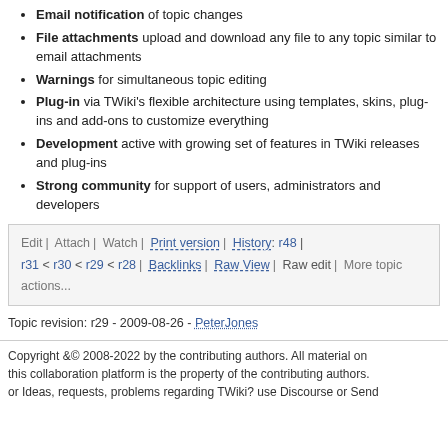Email notification of topic changes
File attachments upload and download any file to any topic similar to email attachments
Warnings for simultaneous topic editing
Plug-in via TWiki's flexible architecture using templates, skins, plug-ins and add-ons to customize everything
Development active with growing set of features in TWiki releases and plug-ins
Strong community for support of users, administrators and developers
Edit | Attach | Watch | Print version | History: r48 | r31 < r30 < r29 < r28 | Backlinks | Raw View | Raw edit | More topic actions...
Topic revision: r29 - 2009-08-26 - PeterJones
Copyright &© 2008-2022 by the contributing authors. All material on this collaboration platform is the property of the contributing authors. or Ideas, requests, problems regarding TWiki? use Discourse or Send